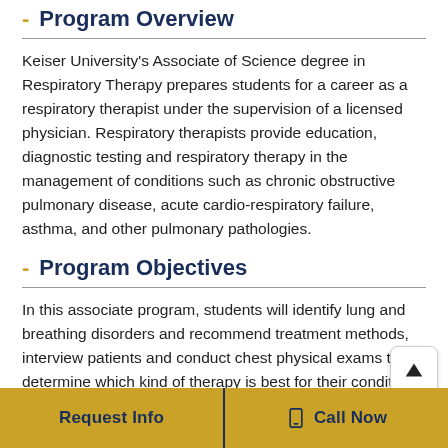Program Overview
Keiser University's Associate of Science degree in Respiratory Therapy prepares students for a career as a respiratory therapist under the supervision of a licensed physician. Respiratory therapists provide education, diagnostic testing and respiratory therapy in the management of conditions such as chronic obstructive pulmonary disease, acute cardio-respiratory failure, asthma, and other pulmonary pathologies.
Program Objectives
In this associate program, students will identify lung and breathing disorders and recommend treatment methods, interview patients and conduct chest physical exams to determine which kind of therapy is best for their condition, and consult with physicians to recommend a change in